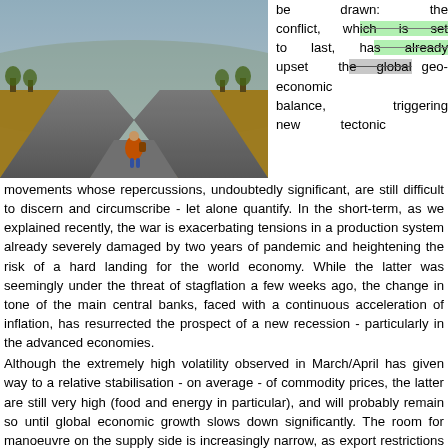[Figure (photo): A person with a backpack sitting at a forked road in an autumnal landscape, seen from behind, facing a diverging path.]
be drawn: the conflict, which is set to last, has already upset the global geo-economic balance, triggering new tectonic movements whose repercussions, undoubtedly significant, are still difficult to discern and circumscribe - let alone quantify. In the short-term, as we explained recently, the war is exacerbating tensions in a production system already severely damaged by two years of pandemic and heightening the risk of a hard landing for the world economy. While the latter was seemingly under the threat of stagflation a few weeks ago, the change in tone of the main central banks, faced with a continuous acceleration of inflation, has resurrected the prospect of a new recession - particularly in the advanced economies.
Although the extremely high volatility observed in March/April has given way to a relative stabilisation - on average - of commodity prices, the latter are still very high (food and energy in particular), and will probably remain so until global economic growth slows down significantly. The room for manoeuvre on the supply side is increasingly narrow, as export restrictions on food products accumulate, while Western sanctions (and Russian counter-sanctions) now target all forms of energy supply. A sustained or enhanced transmission of input price increases to the prices of goods and services (which is still in its infancy in some countries/sectors) seems inevitable, especially as wage pressures, given the current context, will intensify. In other words, the risk of stagflation has grown considerably, and the first signs of it can already be observed.
Accordingly, the ECB has gradually tightened its stance, following in the